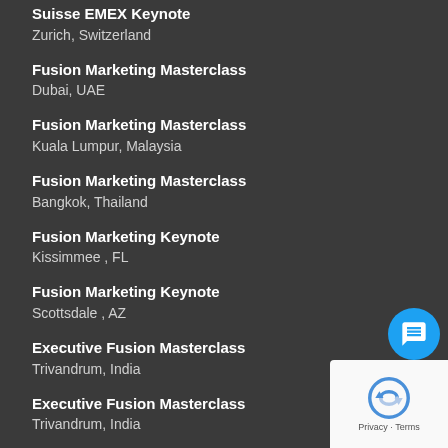Suisse EMEX Keynote
Zurich, Switzerland
Fusion Marketing Masterclass
Dubai, UAE
Fusion Marketing Masterclass
Kuala Lumpur, Malaysia
Fusion Marketing Masterclass
Bangkok, Thailand
Fusion Marketing Keynote
Kissimmee , FL
Fusion Marketing Keynote
Scottsdale , AZ
Executive Fusion Masterclass
Trivandrum, India
Executive Fusion Masterclass
Trivandrum, India